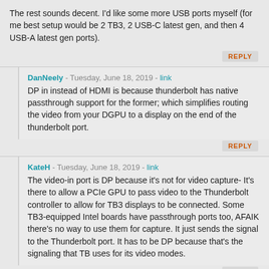The rest sounds decent. I'd like some more USB ports myself (for me best setup would be 2 TB3, 2 USB-C latest gen, and then 4 USB-A latest gen ports).
REPLY
DanNeely - Tuesday, June 18, 2019 - link
DP in instead of HDMI is because thunderbolt has native passthrough support for the former; which simplifies routing the video from your DGPU to a display on the end of the thunderbolt port.
REPLY
KateH - Tuesday, June 18, 2019 - link
The video-in port is DP because it's not for video capture- It's there to allow a PCIe GPU to pass video to the Thunderbolt controller to allow for TB3 displays to be connected. Some TB3-equipped Intel boards have passthrough ports too, AFAIK there's no way to use them for capture. It just sends the signal to the Thunderbolt port. It has to be DP because that's the signaling that TB uses for its video modes.
REPLY
rpg1966 - Wednesday, June 19, 2019 - link